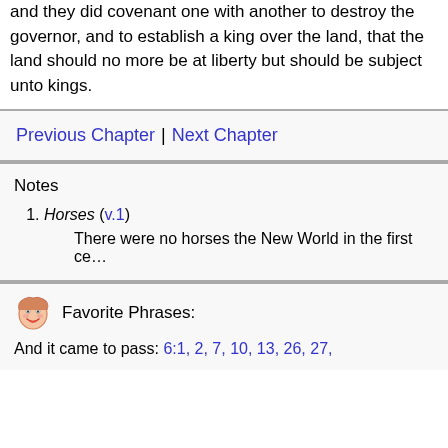and they did covenant one with another to destroy the governor, and to establish a king over the land, that the land should no more be at liberty but should be subject unto kings.
Previous Chapter | Next Chapter
Notes
Horses (v.1)
There were no horses the New World in the first ce…
Favorite Phrases: And it came to pass: 6:1, 2, 7, 10, 13, 26, 27,